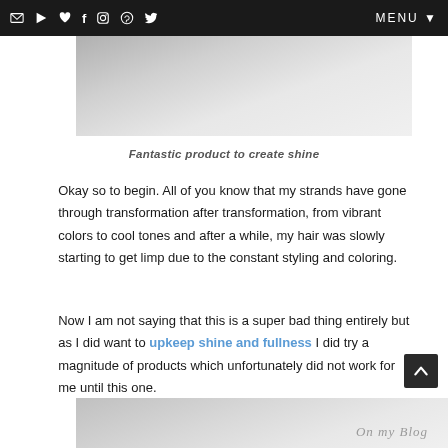MENU
[Figure (photo): Close-up photo of a hair product or shine-related item, light gray/white tones]
Fantastic product to create shine
Okay so to begin. All of you know that my strands have gone through transformation after transformation, from vibrant colors to cool tones and after a while, my hair was slowly starting to get limp due to the constant styling and coloring.
Now I am not saying that this is a super bad thing entirely but as I did want to upkeep shine and fullness I did try a magnitude of products which unfortunately did not work for me until this one.
[Figure (photo): Partial bottom image with watermark text 'On my Blog']